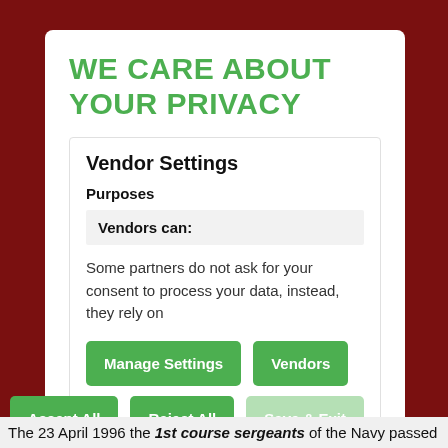WE CARE ABOUT YOUR PRIVACY
Vendor Settings
Purposes
Vendors can:
Some partners do not ask for your consent to process your data, instead, they rely on
Manage Settings | Vendors | Accept All | Reject All | Save & Exit
The 23 April 1996 the 1st course sergeants of the Navy passed